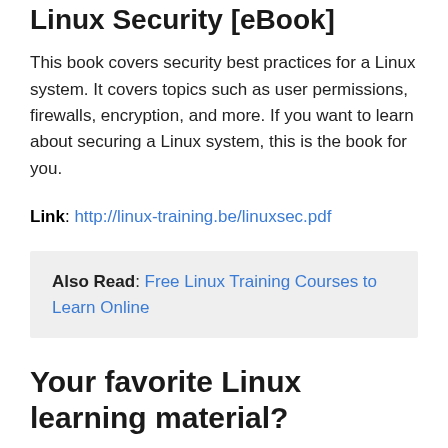Linux Security [eBook]
This book covers security best practices for a Linux system. It covers topics such as user permissions, firewalls, encryption, and more. If you want to learn about securing a Linux system, this is the book for you.
Link: http://linux-training.be/linuxsec.pdf
Also Read: Free Linux Training Courses to Learn Online
Your favorite Linux learning material?